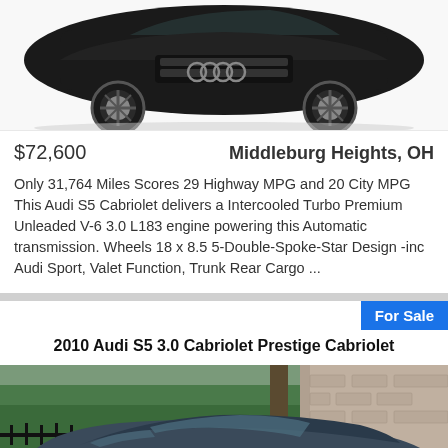[Figure (photo): Top portion of a dark luxury car (Audi S5 Cabriolet) photographed from front-low angle on white background]
$72,600    Middleburg Heights, OH
Only 31,764 Miles Scores 29 Highway MPG and 20 City MPG This Audi S5 Cabriolet delivers a Intercooled Turbo Premium Unleaded V-6 3.0 L183 engine powering this Automatic transmission. Wheels 18 x 8.5 5-Double-Spoke-Star Design -inc Audi Sport, Valet Function, Trunk Rear Cargo ...
For Sale
2010 Audi S5 3.0 Cabriolet Prestige Cabriolet
[Figure (photo): 2010 Audi S5 Cabriolet convertible with dark blue soft top, photographed outdoors in a driveway with green bushes and brick wall in background]